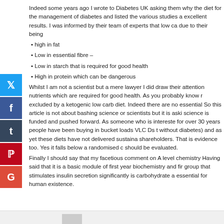Indeed some years ago I wrote to Diabetes UK asking them why the diet for the management of diabetes and listed the various studies a excellent results. I was informed by their team of experts that low ca due to their being
high in fat
Low in essential fibre –
Low in starch that is required for good health
High in protein which can be dangerous
Whilst I am not a scientist but a mere lawyer I did draw their attention nutrients which are required for good health. As you probably know r excluded by a ketogenic low carb diet. Indeed there are no essential So this article is not about bashing science or scientists but it is aski science is funded and pushed forward. As someone who is intereste for over 30 years people have been buying in bucket loads VLC Ds t without diabetes) and as yet these diets have not delivered sustaina shareholders. That is evidence too. Yes it falls below a randomised c should be evaluated.
Finally I should say that my facetious comment on A level chemistry Having said that it is a basic module of first year biochemistry and fir group that stimulates insulin secretion significantly is carbohydrate a essential for human existence.